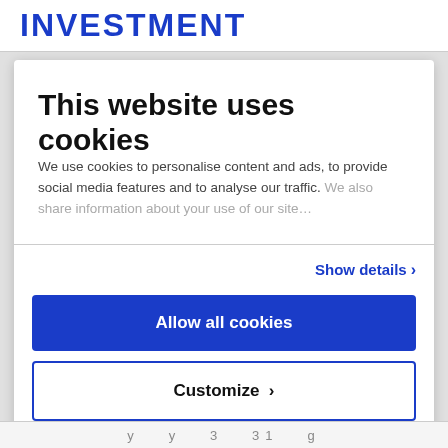INVESTMENT
This website uses cookies
We use cookies to personalise content and ads, to provide social media features and to analyse our traffic. We also share information about your use of our site…
Show details ›
Allow all cookies
Customize ›
Powered by Cookiebot by Usercentrics